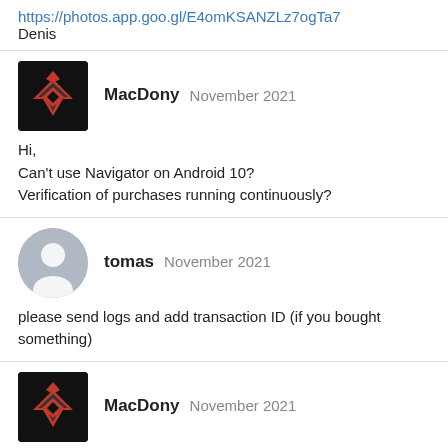https://photos.app.goo.gl/E4omKSANZLz7ogTa7
Denis
MacDony  November 2021
Hi,
Can't use Navigator on Android 10?
Verification of purchases running continuously?
tomas  November 2021
please send logs and add transaction ID (if you bought something)
MacDony  November 2021
Hi Tomas,
the application does not start, I cannot send anything.
I changed my smartphone and I cannot open the app.
I bought the pack and donate but I don't understand this bug ...
tomas  November 2021